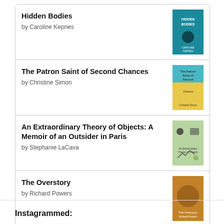[Figure (other): Goodreads widget showing a list of books: Hidden Bodies by Caroline Kepnes, The Patron Saint of Second Chances by Christine Simon, An Extraordinary Theory of Objects: A Memoir of an Outsider in Paris by Stephanie LaCava, The Overstory by Richard Powers, with a Goodreads button at the bottom.]
Instagrammed: